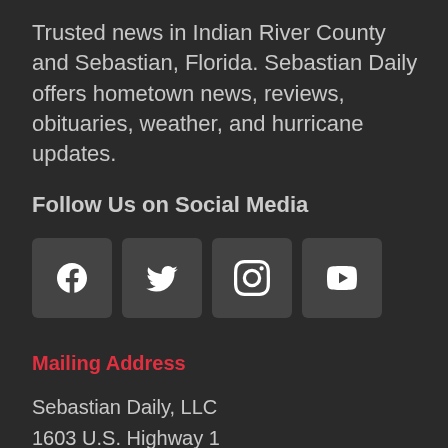Trusted news in Indian River County and Sebastian, Florida. Sebastian Daily offers hometown news, reviews, obituaries, weather, and hurricane updates.
Follow Us on Social Media
[Figure (other): Four social media icon buttons: Facebook, Twitter, Instagram, YouTube]
Mailing Address
Sebastian Daily, LLC
1603 U.S. Highway 1
Suite 102
Sebastian, Florida 32958
Categories